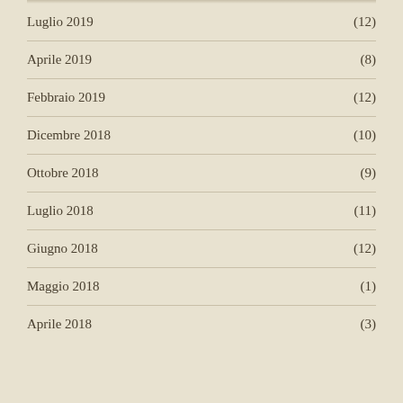Luglio 2019 (12)
Aprile 2019 (8)
Febbraio 2019 (12)
Dicembre 2018 (10)
Ottobre 2018 (9)
Luglio 2018 (11)
Giugno 2018 (12)
Maggio 2018 (1)
Aprile 2018 (3)